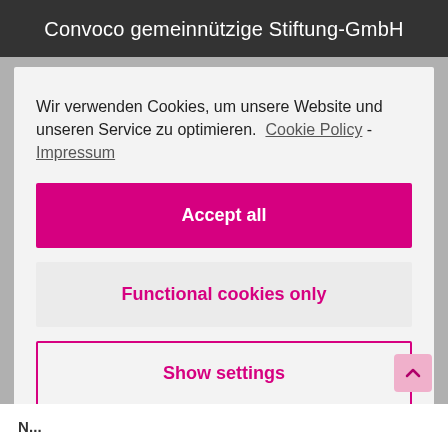Convoco gemeinnützige Stiftung-GmbH
Wir verwenden Cookies, um unsere Website und unseren Service zu optimieren.  Cookie Policy - Impressum
Accept all
Functional cookies only
Show settings